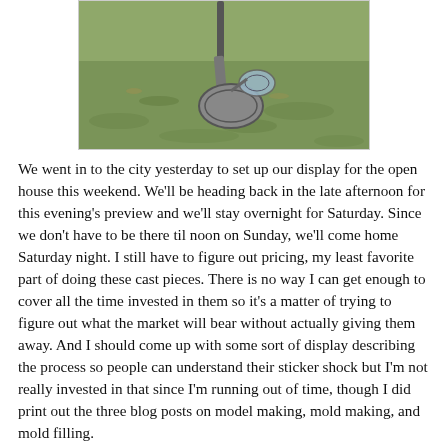[Figure (photo): A metal detector or similar metal disc/tool photographed on green grass from above]
We went in to the city yesterday to set up our display for the open house this weekend. We'll be heading back in the late afternoon for this evening's preview and we'll stay overnight for Saturday. Since we don't have to be there til noon on Sunday, we'll come home Saturday night. I still have to figure out pricing, my least favorite part of doing these cast pieces. There is no way I can get enough to cover all the time invested in them so it's a matter of trying to figure out what the market will bear without actually giving them away. And I should come up with some sort of display describing the process so people can understand their sticker shock but I'm not really invested in that since I'm running out of time, though I did print out the three blog posts on model making, mold making, and mold filling.